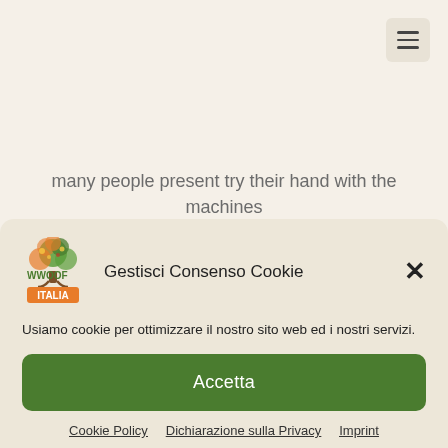[Figure (other): Hamburger menu button icon in top right corner]
many people present try their hand with the machines
[Figure (logo): WWOOF Italia logo with tree graphic and orange banner]
Gestisci Consenso Cookie
Usiamo cookie per ottimizzare il nostro sito web ed i nostri servizi.
Accetta
Cookie Policy   Dichiarazione sulla Privacy   Imprint